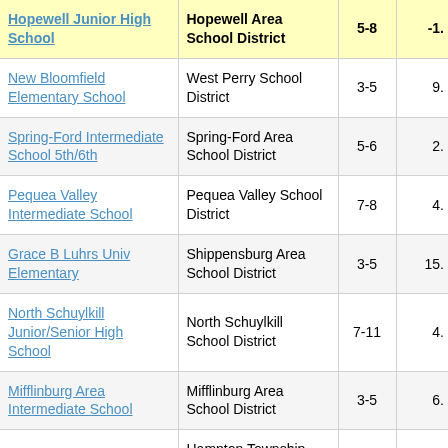| School | District | Grades | Value |
| --- | --- | --- | --- |
| Hopewell Junior High School | Hopewell Area School District | 5-8 | -1. |
| New Bloomfield Elementary School | West Perry School District | 3-5 | 9. |
| Spring-Ford Intermediate School 5th/6th | Spring-Ford Area School District | 5-6 | 2. |
| Pequea Valley Intermediate School | Pequea Valley School District | 7-8 | 4. |
| Grace B Luhrs Univ Elementary | Shippensburg Area School District | 3-5 | 15. |
| North Schuylkill Junior/Senior High School | North Schuylkill School District | 7-11 | 4. |
| Mifflinburg Area Intermediate School | Mifflinburg Area School District | 3-5 | 6. |
| Wyland Elementary | Hampton Township School District | 3-? |  |